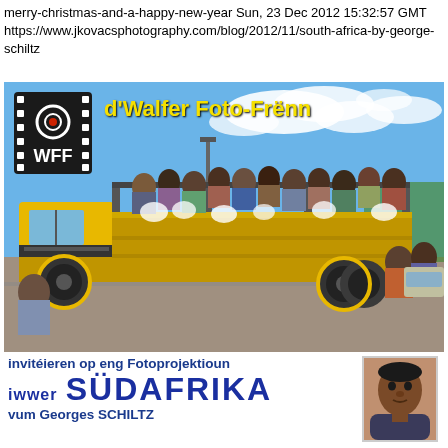merry-christmas-and-a-happy-new-year Sun, 23 Dec 2012 15:32:57 GMT
https://www.jkovacsphotography.com/blog/2012/11/south-africa-by-george-schiltz
[Figure (photo): Promotional photo composite for 'd'Walfer Foto-Frënn' photography club showing a yellow truck loaded with many people in South Africa, with WFF logo in top-left and yellow title text.]
invitéieren op eng Fotoprojektioun
iwwer SÜDAFRIKA
vum Georges SCHILTZ